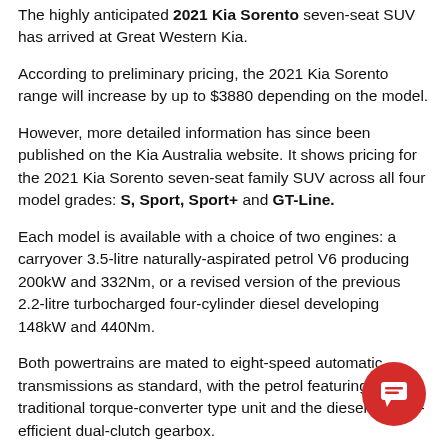The highly anticipated 2021 Kia Sorento seven-seat SUV has arrived at Great Western Kia.
According to preliminary pricing, the 2021 Kia Sorento range will increase by up to $3880 depending on the model.
However, more detailed information has since been published on the Kia Australia website. It shows pricing for the 2021 Kia Sorento seven-seat family SUV across all four model grades: S, Sport, Sport+ and GT-Line.
Each model is available with a choice of two engines: a carryover 3.5-litre naturally-aspirated petrol V6 producing 200kW and 332Nm, or a revised version of the previous 2.2-litre turbocharged four-cylinder diesel developing 148kW and 440Nm.
Both powertrains are mated to eight-speed automatic transmissions as standard, with the petrol featuring a traditional torque-converter type unit and the diesel a more-efficient dual-clutch gearbox.
[Figure (illustration): Red circular chat/message button icon in bottom-right corner]